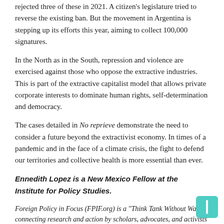rejected three of these in 2021. A citizen's legislature tried to reverse the existing ban. But the movement in Argentina is stepping up its efforts this year, aiming to collect 100,000 signatures.
In the North as in the South, repression and violence are exercised against those who oppose the extractive industries. This is part of the extractive capitalist model that allows private corporate interests to dominate human rights, self-determination and democracy.
The cases detailed in No reprieve demonstrate the need to consider a future beyond the extractivist economy. In times of a pandemic and in the face of a climate crisis, the fight to defend our territories and collective health is more essential than ever.
Ennedith Lopez is a New Mexico Fellow at the Institute for Policy Studies.
Foreign Policy in Focus (FPIF.org) is a "Think Tank Without Walls" connecting research and action by scholars, advocates, and activists seeking to make the United States a more responsible global partner. It is a project of the Institute for Policy Studies.